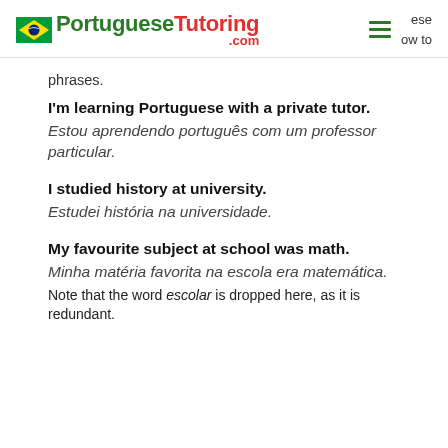PortugueseTutoring.com
phrases.
I'm learning Portuguese with a private tutor.
Estou aprendendo português com um professor particular.
I studied history at university.
Estudei história na universidade.
My favourite subject at school was math.
Minha matéria favorita na escola era matemática.
Note that the word escolar is dropped here, as it is redundant.